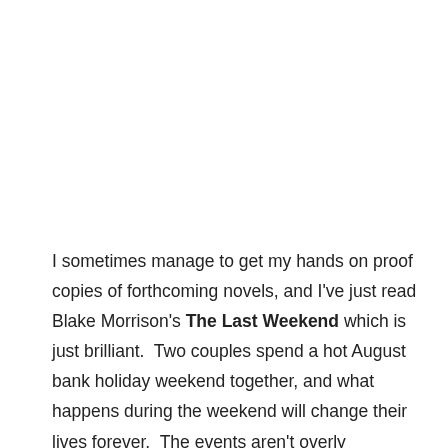I sometimes manage to get my hands on proof copies of forthcoming novels, and I've just read Blake Morrison's The Last Weekend which is just brilliant.  Two couples spend a hot August bank holiday weekend together, and what happens during the weekend will change their lives forever.  The events aren't overly complex, but the way the story is told is what elevates the book into something really special – it's beautifully restrained and elegantly written, and things are constantly shifting – the author holds back, and holds back, and then gives you just enough so that the landscape of the book changes as you read, and you never know